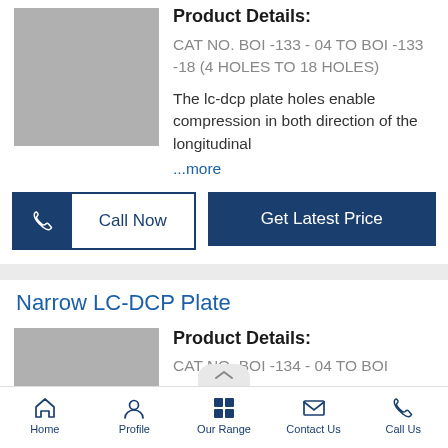[Figure (photo): Gray placeholder image for LC-DCP plate product]
Product Details:
CAT NO. BOI -133 - 04 TO BOI -133 -18 (4 HOLES TO 18 HOLES)
The lc-dcp plate holes enable compression in both direction of the longitudinal
...more
Call Now
Get Latest Price
Narrow LC-DCP Plate
[Figure (photo): Gray placeholder image for Narrow LC-DCP plate product]
Product Details:
CAT NO. BOI -134 - 04 TO BOI
Home   Profile   Our Range   Contact Us   Call Us